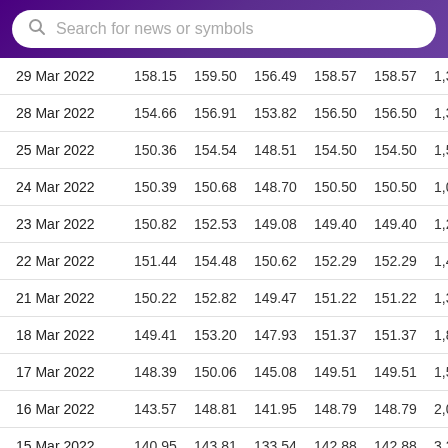[Figure (screenshot): Search bar with purple gradient background and white rounded search box containing placeholder text 'Search for news or symbols' with a magnifying glass icon]
| Date | Open | High | Low | Close | Adj Close | Volume |
| --- | --- | --- | --- | --- | --- | --- |
| 29 Mar 2022 | 158.15 | 159.50 | 156.49 | 158.57 | 158.57 | 1,3… |
| 28 Mar 2022 | 154.66 | 156.91 | 153.82 | 156.50 | 156.50 | 1,37… |
| 25 Mar 2022 | 150.36 | 154.54 | 148.51 | 154.50 | 154.50 | 1,5… |
| 24 Mar 2022 | 150.39 | 150.68 | 148.70 | 150.50 | 150.50 | 1,03… |
| 23 Mar 2022 | 150.82 | 152.53 | 149.08 | 149.40 | 149.40 | 1,25… |
| 22 Mar 2022 | 151.44 | 154.48 | 150.62 | 152.29 | 152.29 | 1,48… |
| 21 Mar 2022 | 150.22 | 152.82 | 149.47 | 151.22 | 151.22 | 1,33… |
| 18 Mar 2022 | 149.41 | 153.20 | 147.93 | 151.37 | 151.37 | 1,88… |
| 17 Mar 2022 | 148.39 | 150.06 | 145.08 | 149.51 | 149.51 | 1,53… |
| 16 Mar 2022 | 143.57 | 148.81 | 141.95 | 148.79 | 148.79 | 2,09… |
| 15 Mar 2022 | 140.95 | 143.81 | 133.54 | 142.88 | 142.88 | 3,25… |